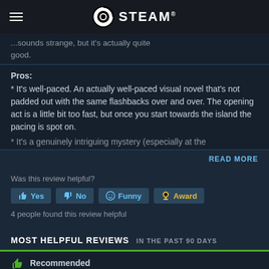STEAM
...sounds strange, but it's actually quite good.
Pros:
* It's well-paced. An actually well-paced visual novel that's not padded out with the same flashbacks over and over. The opening act is a little bit too fast, but once you start towards the island the pacing is spot on.
* It's a genuinely intriguing mystery (especially at the
READ MORE
Was this review helpful?
Yes
No
Funny
Award
4 people found this review helpful
MOST HELPFUL REVIEWS IN THE PAST 90 DAYS
Recommended